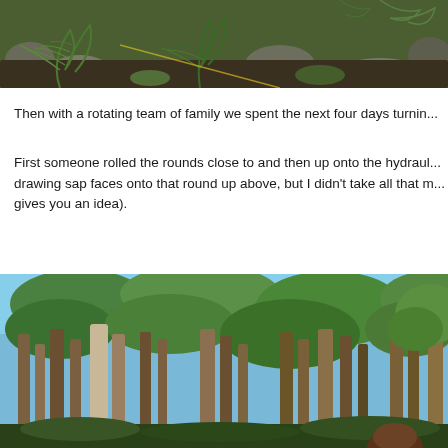[Figure (photo): Photo of ferns and plant debris on rocky ground, top portion of image cropped]
Then with a rotating team of family we spent the next four days turnin...
First someone rolled the rounds close to and then up onto the hydraul... drawing sap faces onto that round up above, but I didn't take all that m... gives you an idea).
[Figure (photo): Photo of tall eucalyptus trees in a forest with a person visible at the bottom right, blue sky visible through the canopy]